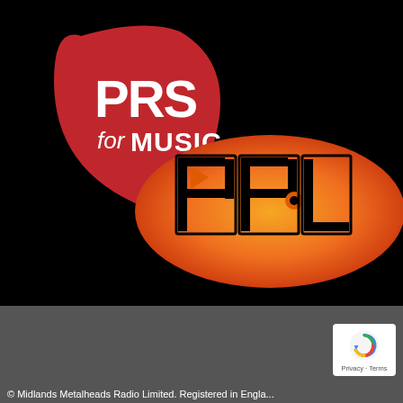[Figure (logo): PRS for Music logo (red guitar-pick shape with white text 'PRS for MUSIC') overlapping PPL logo (orange ellipse with black outlined 'PPL' text and play button arrow) on black background]
[Figure (logo): Google reCAPTCHA badge with rotating arrow icon and 'Privacy · Terms' text]
© Midlands Metalheads Radio Limited. Registered in Engla...